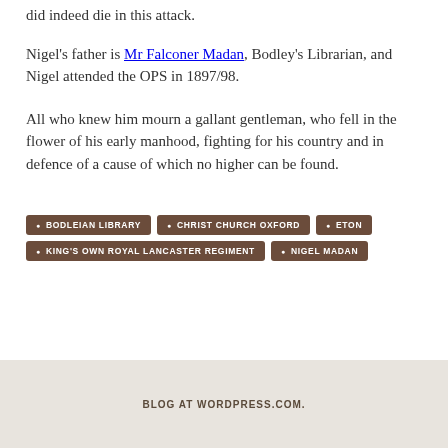did indeed die in this attack.
Nigel's father is Mr Falconer Madan, Bodley's Librarian, and Nigel attended the OPS in 1897/98.
All who knew him mourn a gallant gentleman, who fell in the flower of his early manhood, fighting for his country and in defence of a cause of which no higher can be found.
BODLEIAN LIBRARY
CHRIST CHURCH OXFORD
ETON
KING'S OWN ROYAL LANCASTER REGIMENT
NIGEL MADAN
BLOG AT WORDPRESS.COM.